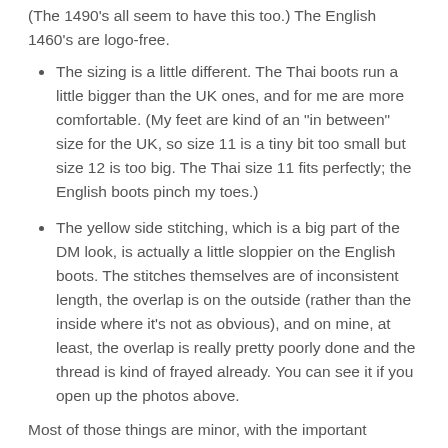(The 1490's all seem to have this too.) The English 1460's are logo-free.
The sizing is a little different. The Thai boots run a little bigger than the UK ones, and for me are more comfortable. (My feet are kind of an "in between" size for the UK, so size 11 is a tiny bit too small but size 12 is too big. The Thai size 11 fits perfectly; the English boots pinch my toes.)
The yellow side stitching, which is a big part of the DM look, is actually a little sloppier on the English boots. The stitches themselves are of inconsistent length, the overlap is on the outside (rather than the inside where it's not as obvious), and on mine, at least, the overlap is really pretty poorly done and the thread is kind of frayed already. You can see it if you open up the photos above.
Most of those things are minor, with the important differences being fit, sole, and leather. Honestly, just to walk around in comfortably, I like the Thai ones better. The UK DM's look